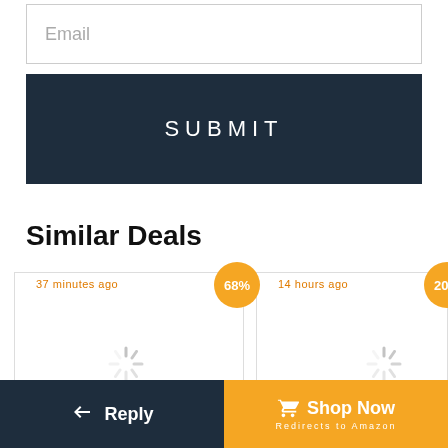Email
SUBMIT
Similar Deals
37 minutes ago
68%
[Figure (other): Loading spinner icon for product image in first deal card]
14 hours ago
20%
[Figure (other): Loading spinner icon for product image in second deal card]
Reply
Shop Now
Redirects to Amazon